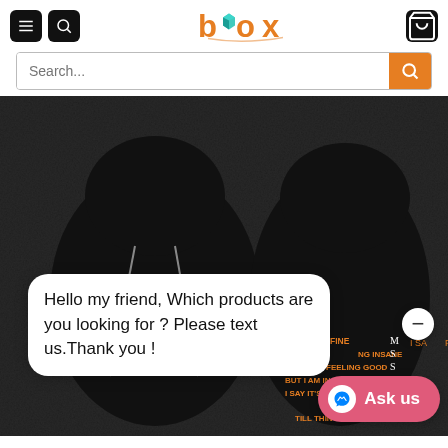[Figure (screenshot): Mobile e-commerce website header with hamburger menu, search icon, Box logo in orange/teal, and cart icon]
[Figure (screenshot): Search bar with placeholder text 'Search...' and orange search button]
[Figure (photo): Product photo showing two black hoodies: front shows 'THIS IS WHAT A SURVIVOR LOOKS LIKE' with orange ribbon; back shows MS awareness text. Chat bubble and Ask us button overlay.]
Hello my friend, Which products are you looking for ? Please text us.Thank you !